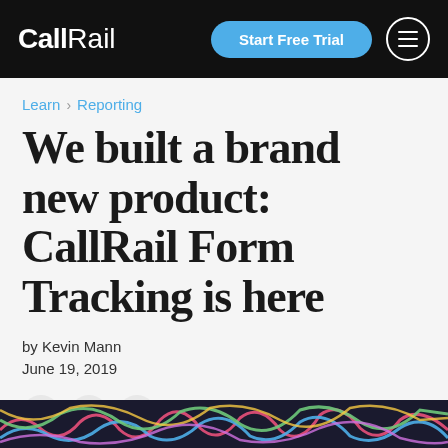CallRail — Start Free Trial
Learn > Reporting
We built a brand new product: CallRail Form Tracking is here
by Kevin Mann
June 19, 2019
[Figure (illustration): Social share icons for Twitter, LinkedIn, and Facebook in circular grey buttons]
[Figure (photo): Colorful abstract image at the bottom of the page, partially visible]